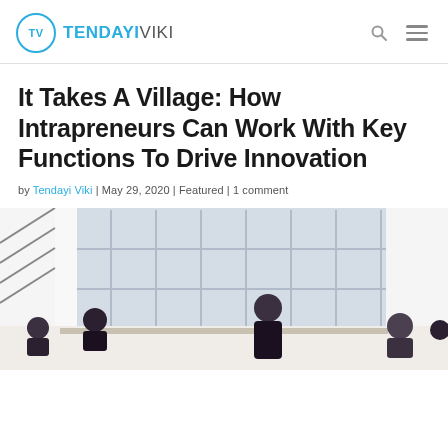TV TENDAYIVIKI
It Takes A Village: How Intrapreneurs Can Work With Key Functions To Drive Innovation
by Tendayi Viki | May 29, 2020 | Featured | 1 comment
[Figure (photo): Photo of a business meeting in a bright office with large windows. A woman is presenting or speaking at the front while several people are seated around a table.]